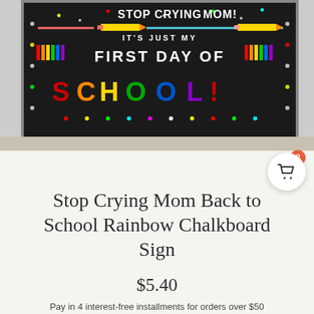[Figure (photo): A colorful chalkboard-style sign reading 'Stop Crying Mom It's Just My First Day of School!' with rainbow colored letters on a dark chalkboard background, surrounded by pencil and crayon decorations, placed on a light gray surface.]
Stop Crying Mom Back to School Rainbow Chalkboard Sign
$5.40
Pay in 4 interest-free installments for orders over $50